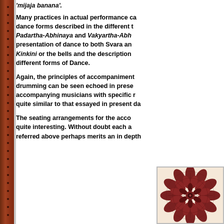'mijaja banana'.
Many practices in actual performance can be found in the dance forms described in the different texts. References to Padartha-Abhinaya and Vakyartha-Abhinaya, the presentation of dance to both Svara and Sahitya, the Kinkini or the bells and the description of styles of different forms of Dance.
Again, the principles of accompaniment of music and drumming can be seen echoed in present day practice, accompanying musicians with specific roles played a role quite similar to that essayed in present day performances.
The seating arrangements for the accompanists are quite interesting. Without doubt each aspect we have referred above perhaps merits an in depth study.
[Figure (illustration): A decorative mandala/flower pattern in dark reddish-brown color, circular geometric design with petal-like shapes arranged symmetrically]